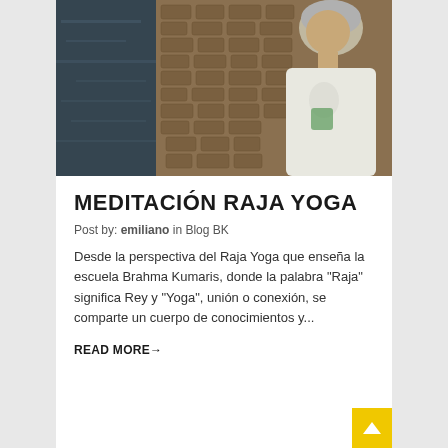[Figure (photo): Older woman with short grey hair wearing a white t-shirt, standing outdoors near a cobblestone path beside water/canal]
MEDITACIÓN RAJA YOGA
Post by: emiliano in Blog BK
Desde la perspectiva del Raja Yoga que enseña la escuela Brahma Kumaris, donde la palabra "Raja" significa Rey y "Yoga", unión o conexión, se comparte un cuerpo de conocimientos y...
READ MORE→